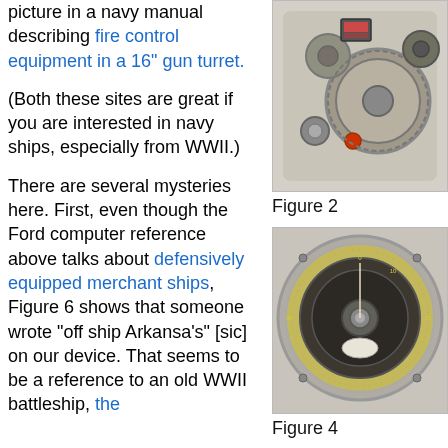picture in a navy manual describing fire control equipment in a 16" gun turret.
(Both these sites are great if you are interested in navy ships, especially from WWII.)
There are several mysteries here. First, even though the Ford computer reference above talks about defensively equipped merchant ships, Figure 6 shows that someone wrote "off ship Arkansa's" [sic] on our device. That seems to be a reference to an old WWII battleship, the
[Figure (photo): Close-up photograph of a mechanical fire control computing device showing gears, dials, and circular components on a light-colored metal plate.]
Figure 2
[Figure (photo): Photograph of a circular dial/compass-like mechanical computing component with graduated scale markings around its circumference, dark metallic surface.]
Figure 4
[Figure (photo): Partial photograph showing what appears to be a red-colored scale or dial component with numerical markings, partially visible.]